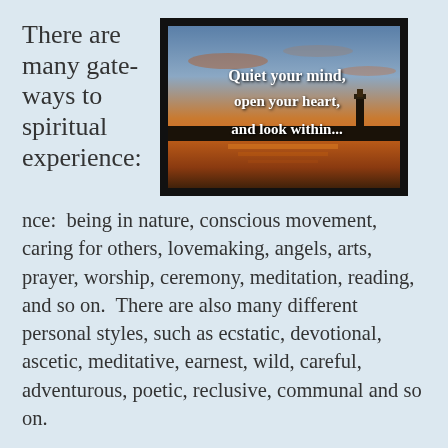There are many gateways to spiritual experience:
[Figure (photo): Sunset over water with a lighthouse silhouette. Text overlay reads: 'Quiet your mind, open your heart, and look within...']
There are many gateways to spiritual experience:  being in nature, conscious movement, caring for others, lovemaking, angels, arts, prayer, worship, ceremony, meditation, reading, and so on.  There are also many different personal styles, such as ecstatic, devotional, ascetic, meditative, earnest, wild, careful, adventurous, poetic, reclusive, communal and so on.
Carefully noticing our sensations and altered